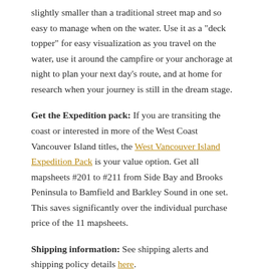slightly smaller than a traditional street map and so easy to manage when on the water. Use it as a "deck topper" for easy visualization as you travel on the water, use it around the campfire or your anchorage at night to plan your next day's route, and at home for research when your journey is still in the dream stage.
Get the Expedition pack: If you are transiting the coast or interested in more of the West Coast Vancouver Island titles, the West Vancouver Island Expedition Pack is your value option. Get all mapsheets #201 to #211 from Side Bay and Brooks Peninsula to Bamfield and Barkley Sound in one set. This saves significantly over the individual purchase price of the 11 mapsheets.
Shipping information: See shipping alerts and shipping policy details here.